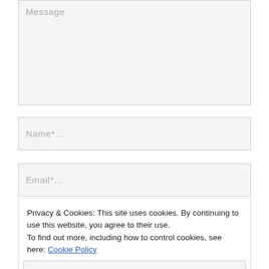Message
Name*...
Email*...
Privacy & Cookies: This site uses cookies. By continuing to use this website, you agree to their use.
To find out more, including how to control cookies, see here: Cookie Policy
Close and accept
SEND